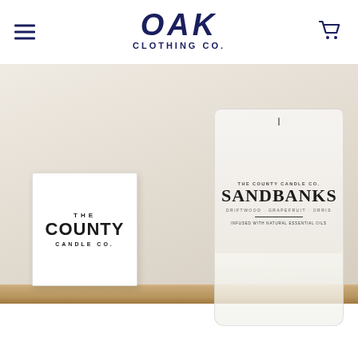OAK CLOTHING CO.
[Figure (photo): Product photo showing The County Candle Co. box packaging and a glass jar candle labeled SANDBANKS, displayed on a wooden surface against a neutral wall background.]